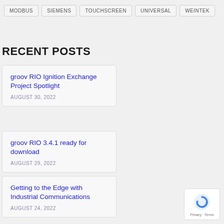MODBUS
SIEMENS
TOUCHSCREEN
UNIVERSAL
WEINTEK
RECENT POSTS
groov RIO Ignition Exchange Project Spotlight
AUGUST 30, 2022
groov RIO 3.4.1 ready for download
AUGUST 29, 2022
Getting to the Edge with Industrial Communications
AUGUST 24, 2022
[Figure (logo): reCAPTCHA badge with blue circular arrow icon and Privacy/Terms text]